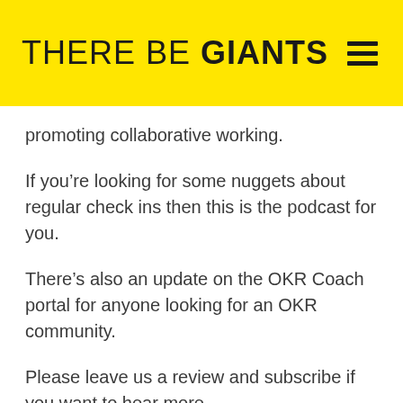THERE BE GIANTS
promoting collaborative working.
If you’re looking for some nuggets about regular check ins then this is the podcast for you.
There’s also an update on the OKR Coach portal for anyone looking for an OKR community.
Please leave us a review and subscribe if you want to hear more